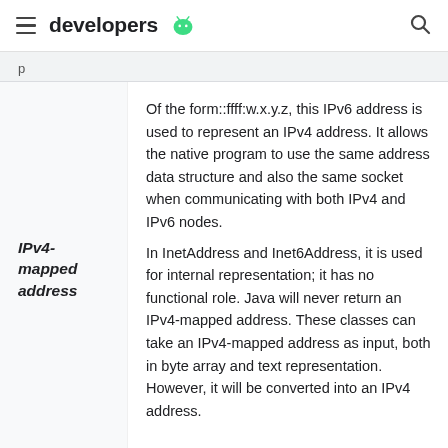developers
Of the form::ffff:w.x.y.z, this IPv6 address is used to represent an IPv4 address. It allows the native program to use the same address data structure and also the same socket when communicating with both IPv4 and IPv6 nodes.
In InetAddress and Inet6Address, it is used for internal representation; it has no functional role. Java will never return an IPv4-mapped address. These classes can take an IPv4-mapped address as input, both in byte array and text representation. However, it will be converted into an IPv4 address.
IPv4-mapped address